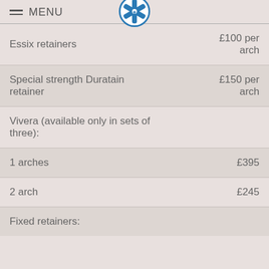MENU
| Essix retainers | £100 per arch |
| Special strength Duratain retainer | £150 per arch |
| Vivera (available only in sets of three): |  |
| 1 arches | £395 |
| 2 arch | £245 |
| Fixed retainers: |  |